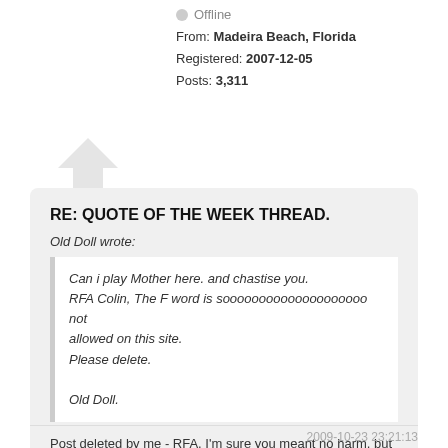Offline
From: Madeira Beach, Florida
Registered: 2007-12-05
Posts: 3,311
RE: QUOTE OF THE WEEK THREAD.
Old Doll wrote:
Can i play Mother here. and chastise you.
RFA Colin, The F word is soooooooooooooooooooo not allowed on this site.
Please delete.

Old Doll.
Post deleted by me - RFA, I'm sure you meant no harm, but chordie is a family friendly site.
Rule No. 1 - If it sounds good - it is good!
2009-10-23 23:21:13